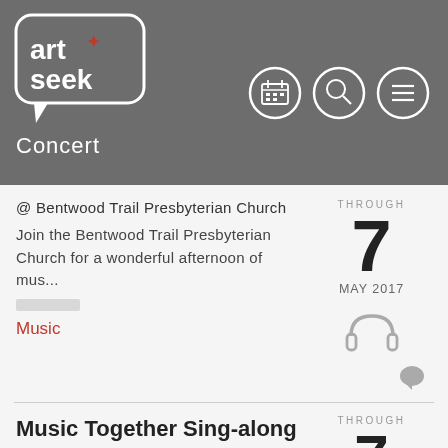[Figure (logo): Art+Seek logo with speech bubble design and Concert label below]
[Figure (other): Navigation icons: calendar, search, and menu on dark grey header background]
@ Bentwood Trail Presbyterian Church
Join the Bentwood Trail Presbyterian Church for a wonderful afternoon of mus...
Music
THROUGH
7
MAY 2017
[Figure (illustration): Headphones icon in grey]
[Figure (illustration): Comment bubble icon in grey]
Music Together Sing-along with Uncle Gerry
@ Tiferet Israel Dallas
THROUGH
7